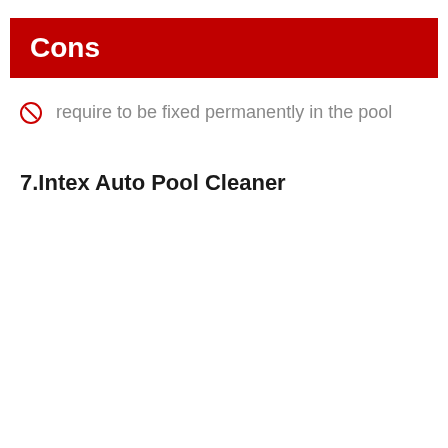Cons
require to be fixed permanently in the pool
7.Intex Auto Pool Cleaner